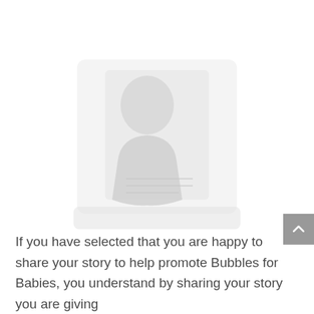[Figure (illustration): A faded, light gray silhouette/watermark-style image of what appears to be a person or figure, rendered in very light gray tones against a white background, centered in the upper portion of the page.]
If you have selected that you are happy to share your story to help promote Bubbles for Babies, you understand by sharing your story you are giving